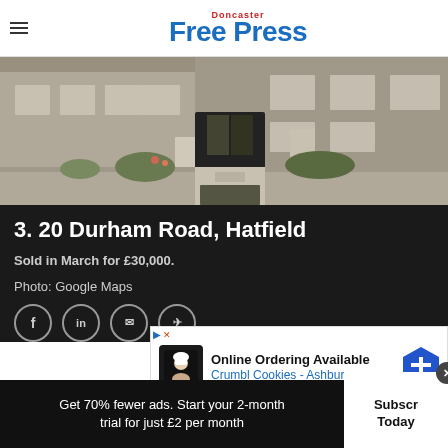Doncaster Free Press
[Figure (photo): Street-level photo of 20 Durham Road, Hatfield — a brick residential building entrance with paved pathway, mailboxes, and surrounding greenery, taken from Google Maps.]
3. 20 Durham Road, Hatfield
Sold in March for £30,000.
Photo: Google Maps
[Figure (other): Advertisement: Online Ordering Available – Crumbl Cookies - Ashburn]
Get 70% fewer ads. Start your 2-month trial for just £2 per month
Subscribe Today